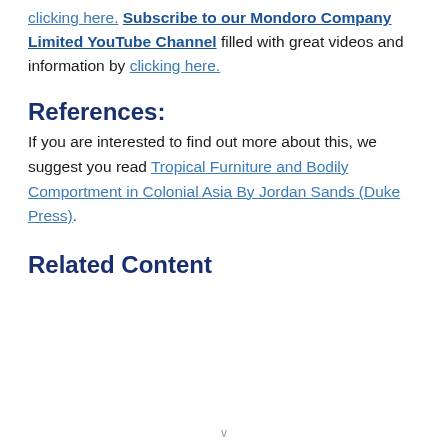clicking here. Subscribe to our Mondoro Company Limited YouTube Channel filled with great videos and information by clicking here.
References:
If you are interested to find out more about this, we suggest you read Tropical Furniture and Bodily Comportment in Colonial Asia By Jordan Sands (Duke Press).
Related Content